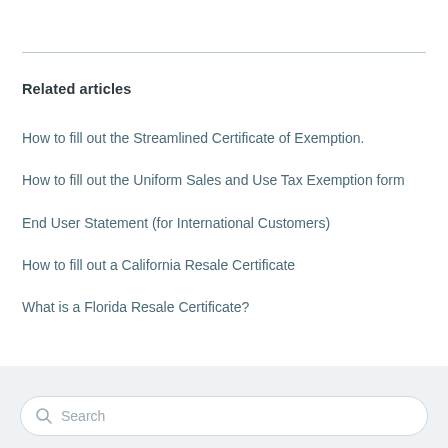Related articles
How to fill out the Streamlined Certificate of Exemption.
How to fill out the Uniform Sales and Use Tax Exemption form
End User Statement (for International Customers)
How to fill out a California Resale Certificate
What is a Florida Resale Certificate?